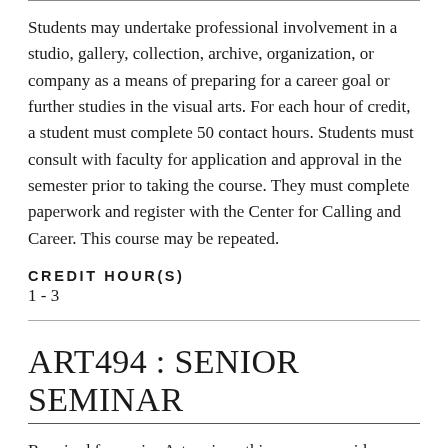Students may undertake professional involvement in a studio, gallery, collection, archive, organization, or company as a means of preparing for a career goal or further studies in the visual arts. For each hour of credit, a student must complete 50 contact hours. Students must consult with faculty for application and approval in the semester prior to taking the course. They must complete paperwork and register with the Center for Calling and Career. This course may be repeated.
CREDIT HOUR(S)
1 - 3
ART494 : SENIOR SEMINAR
Required for senior Art majors, this course provides students with the opportunity to pursue an